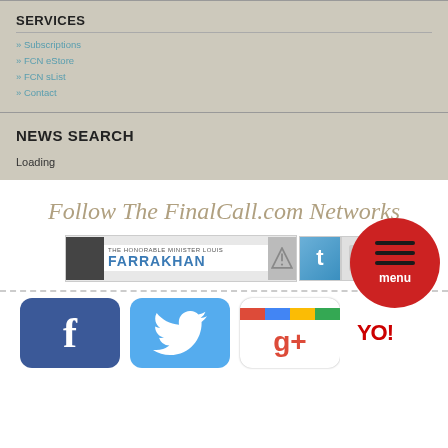SERVICES
» Subscriptions
» FCN eStore
» FCN sList
» Contact
NEWS SEARCH
Loading
Follow The FinalCall.com Networks
[Figure (logo): The Honorable Minister Louis Farrakhan banner with photo and Twitter badge]
[Figure (logo): Social media icons: Facebook, Twitter, Google+, and another icon. Menu button overlay.]